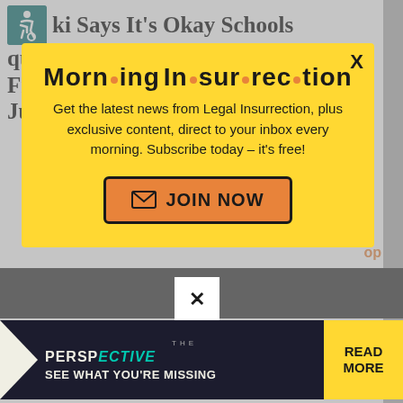ki Says It's Okay Schools quire Children Eat Outside In Frigid Temps, Parents Should Just Pack Extra Hats For Them
[Figure (screenshot): A yellow modal popup overlay for 'Morning Insurrection' newsletter from Legal Insurrection. Contains logo text with orange dots between syllables, subscription pitch text, and an orange JOIN NOW button. Below is a small white close button with X, and at the bottom an advertisement banner for 'The Perspective' with teal/yellow design and READ MORE button.]